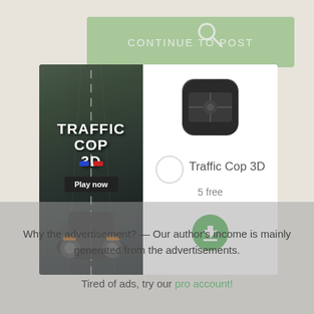[Figure (screenshot): Green button bar with text CONTINUE TO POST and a search icon on the right]
[Figure (screenshot): Advertisement for Traffic Cop 3D mobile game showing game banner on left and app store download info on right with app icon, name, price '5 free', and download button]
Why the advertisement? — Our author's income is mainly generated from the advertisements.
Tired of ads, try our pro account!